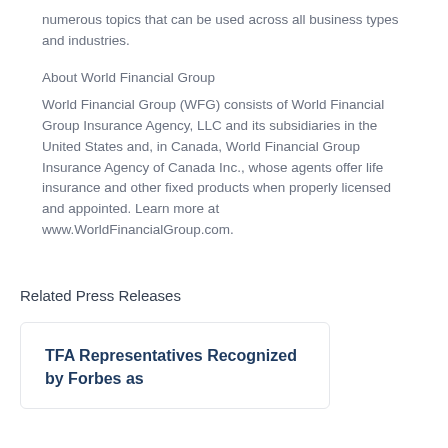numerous topics that can be used across all business types and industries.
About World Financial Group
World Financial Group (WFG) consists of World Financial Group Insurance Agency, LLC and its subsidiaries in the United States and, in Canada, World Financial Group Insurance Agency of Canada Inc., whose agents offer life insurance and other fixed products when properly licensed and appointed. Learn more at www.WorldFinancialGroup.com.
Related Press Releases
TFA Representatives Recognized by Forbes as